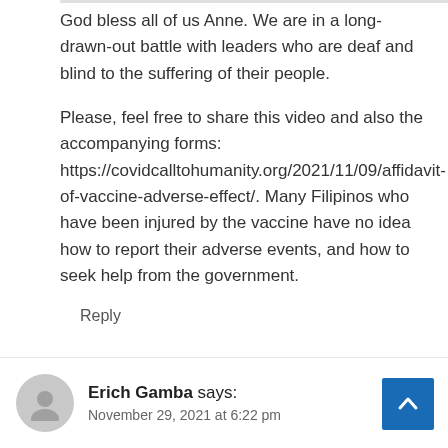God bless all of us Anne. We are in a long-drawn-out battle with leaders who are deaf and blind to the suffering of their people.
Please, feel free to share this video and also the accompanying forms: https://covidcalltohumanity.org/2021/11/09/affidavit-of-vaccine-adverse-effect/. Many Filipinos who have been injured by the vaccine have no idea how to report their adverse events, and how to seek help from the government.
Reply
Erich Gamba says:
November 29, 2021 at 6:22 pm